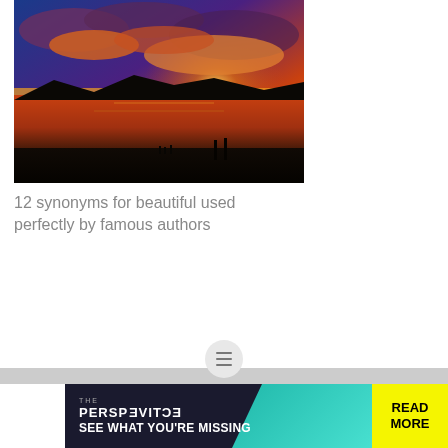[Figure (photo): Dramatic sunset photograph over water with vibrant orange, red, and blue sky with clouds, silhouetted mountains and people in the foreground]
12 synonyms for beautiful used perfectly by famous authors
[Figure (infographic): Advertisement banner: THE PERSPECTIVE - SEE WHAT YOU'RE MISSING with READ MORE button in yellow]